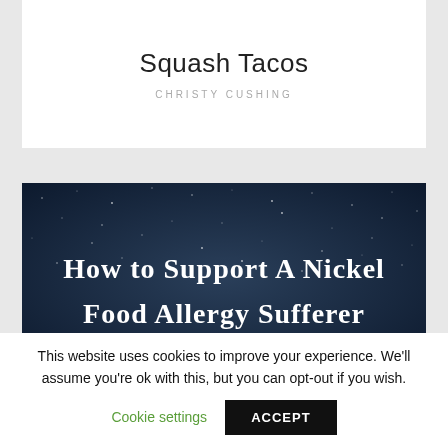Squash Tacos
CHRISTY CUSHING
[Figure (illustration): Dark navy starry night sky background banner with white serif text reading 'How to Support A Nickel Food Allergy Sufferer']
This website uses cookies to improve your experience. We'll assume you're ok with this, but you can opt-out if you wish.
Cookie settings
ACCEPT